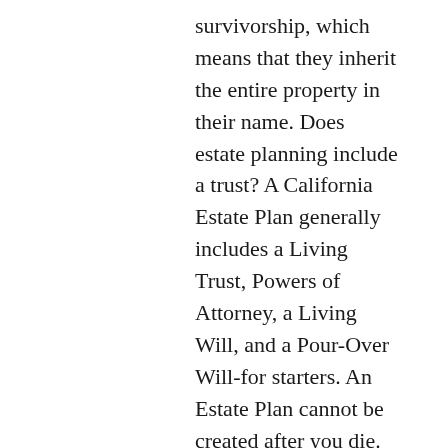survivorship, which means that they inherit the entire property in their name. Does estate planning include a trust? A California Estate Plan generally includes a Living Trust, Powers of Attorney, a Living Will, and a Pour-Over Will-for starters. An Estate Plan cannot be created after you die. Everyone has an estate, and literally every adult should have an Estate Plan, usually including a Living Trust. Benefits of an Estate Account. This analysis uses similarly to judgments coming from Florida, judgments entered in other states tape-recorded in Florida pursuant to the Uniform Enforcement of Foreign Judgments Act, see Haigh v. This makes filing of the Petition for Probate form and documents even easier. Numerous Will